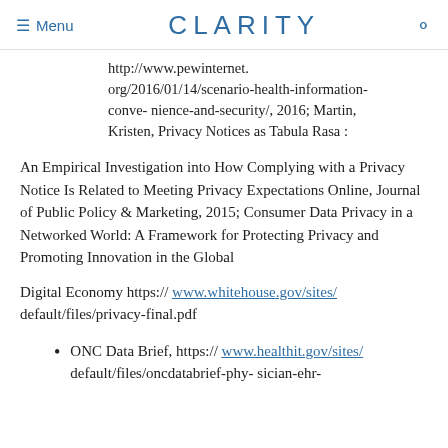Menu | CLARITY
http://www.pewinternet.org/2016/01/14/scenario-health-information-conve- nience-and-security/, 2016; Martin, Kristen, Privacy Notices as Tabula Rasa :
An Empirical Investigation into How Complying with a Privacy Notice Is Related to Meeting Privacy Expectations Online, Journal of Public Policy & Marketing, 2015; Consumer Data Privacy in a Networked World: A Framework for Protecting Privacy and Promoting Innovation in the Global
Digital Economy https:// www.whitehouse.gov/sites/ default/files/privacy-final.pdf
ONC Data Brief, https:// www.healthit.gov/sites/ default/files/oncdatabrief-phy- sician-ehr-